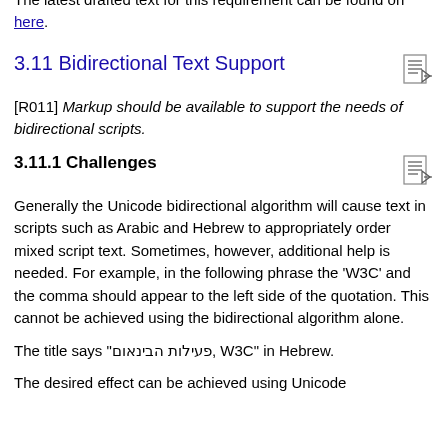DF].
The latest drafted text for this requirement can be found on here.
3.11 Bidirectional Text Support
[R011] Markup should be available to support the needs of bidirectional scripts.
3.11.1 Challenges
Generally the Unicode bidirectional algorithm will cause text in scripts such as Arabic and Hebrew to appropriately order mixed script text. Sometimes, however, additional help is needed. For example, in the following phrase the 'W3C' and the comma should appear to the left side of the quotation. This cannot be achieved using the bidirectional algorithm alone.
The title says "פעילות הבינאום, W3C" in Hebrew.
The desired effect can be achieved using Unicode